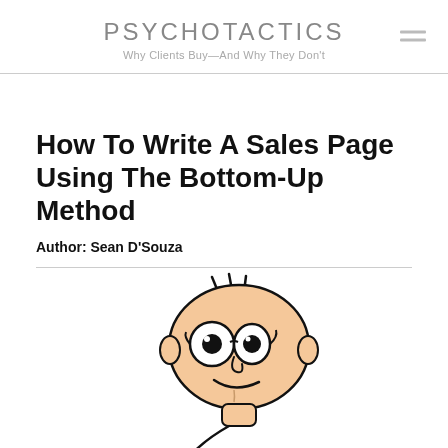PSYCHOTACTICS
Why Clients Buy—And Why They Don't
How To Write A Sales Page Using The Bottom-Up Method
Author: Sean D'Souza
[Figure (illustration): Cartoon illustration of a bespectacled man with spiky hair holding a pen, smiling with a clever expression]